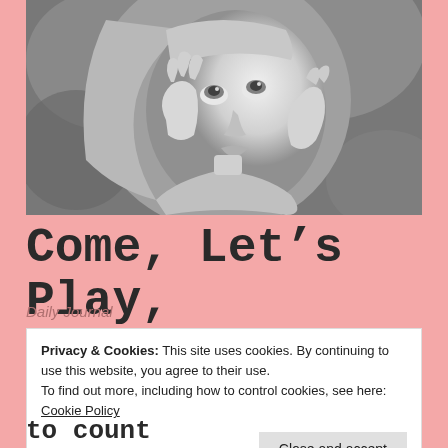[Figure (photo): Black and white photo of a young girl with long blonde hair, hands raised to her face, looking upward with a dreamy expression, wearing a light-colored top]
Come, Let’s Play,
Daily Journal
Privacy & Cookies: This site uses cookies. By continuing to use this website, you agree to their use.
To find out more, including how to control cookies, see here: Cookie Policy
Close and accept
to count